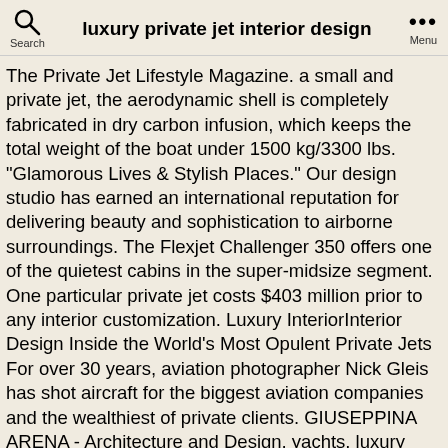luxury private jet interior design  Search  Menu
The Private Jet Lifestyle Magazine. a small and private jet, the aerodynamic shell is completely fabricated in dry carbon infusion, which keeps the total weight of the boat under 1500 kg/3300 lbs. "Glamorous Lives & Stylish Places." Our design studio has earned an international reputation for delivering beauty and sophistication to airborne surroundings. The Flexjet Challenger 350 offers one of the quietest cabins in the super-midsize segment. One particular private jet costs $403 million prior to any interior customization. Luxury InteriorInterior Design Inside the World's Most Opulent Private Jets For over 30 years, aviation photographer Nick Gleis has shot aircraft for the biggest aviation companies and the wealthiest of private clients. GIUSEPPINA ARENA - Architecture and Design, yachts, luxury residences private jet, yachts interiors, private jets, retail showrooms, architecture and interior design, Miami, Rome, textures, innovative materials, furniture and finishes, projects, research of the most exclusive materials, Italy, Asia, North and South